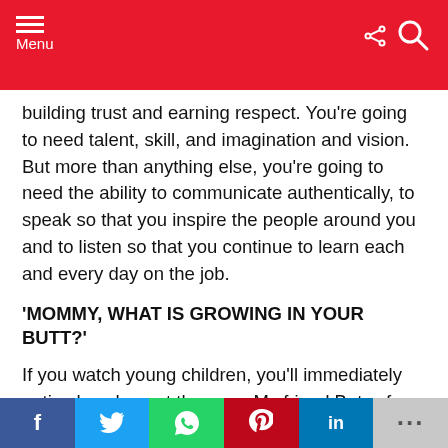Menu
building trust and earning respect.  You're going to need talent, skill, and imagination and vision.  But more than anything else, you're going to need the ability to communicate authentically, to speak so that you inspire the people around you and to listen so that you continue to learn each and every day on the job.
'MOMMY, WHAT IS GROWING IN YOUR BUTT?'
If you watch young children, you'll immediately notice how honest they are.  My friend Betsy from my section a few years after business school was